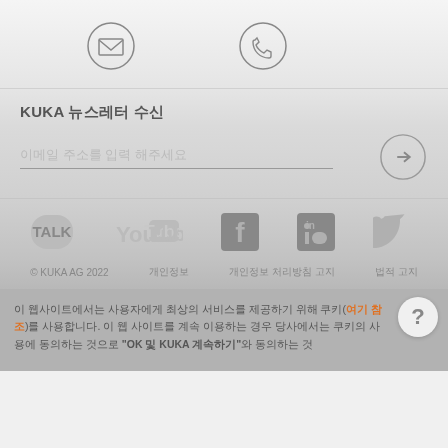[Figure (illustration): Two circular icons: email envelope icon and phone handset icon]
KUKA 뉴스레터 수신
이메일 주소를 입력 해주세요
[Figure (illustration): Social media icons: KakaoTalk, YouTube, Facebook, LinkedIn, Twitter]
© KUKA AG 2022   개인정보   개인정보 처리방침 고지   법적 고지
이 웹사이트에서는 사용자에게 최상의 서비스를 제공하기 위해 쿠키(여기 참조)를 사용합니다. 이 웹 사이트를 계속 이용하는 경우 당사에서는 쿠키의 사용에 동의하는 것으로 "OK 및 KUKA 계속하기"와 동의하는 것